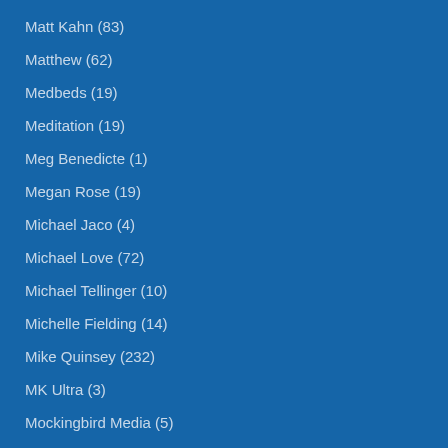Matt Kahn (83)
Matthew (62)
Medbeds (19)
Meditation (19)
Meg Benedicte (1)
Megan Rose (19)
Michael Jaco (4)
Michael Love (72)
Michael Tellinger (10)
Michelle Fielding (14)
Mike Quinsey (232)
MK Ultra (3)
Mockingbird Media (5)
Mother Gaia (26)
Mother God (21)
Mother Mary (8)
Mother Sekhmet (6)
Nancy Tate (8)